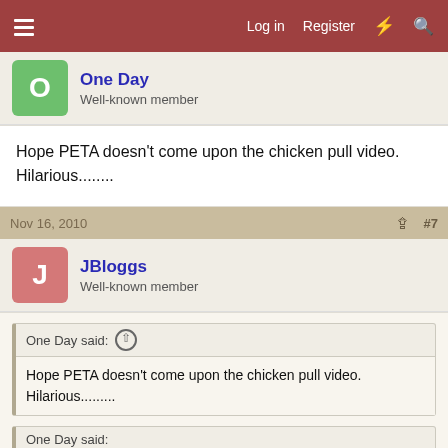Log in  Register  [flash icon]  [search icon]
One Day
Well-known member
Hope PETA doesn't come upon the chicken pull video. Hilarious........
Nov 16, 2010  #7
JBloggs
Well-known member
One Day said: ↑
Hope PETA doesn't come upon the chicken pull video. Hilarious.........
One Day said:
Hope PETA doesn't come upon the chicken pull video. Hilarious..